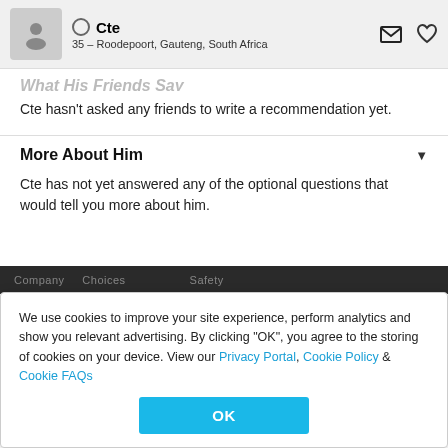Cte · 35 – Roodepoort, Gauteng, South Africa
What His Friends Say
Cte hasn't asked any friends to write a recommendation yet.
More About Him
Cte has not yet answered any of the optional questions that would tell you more about him.
We use cookies to improve your site experience, perform analytics and show you relevant advertising. By clicking "OK", you agree to the storing of cookies on your device. View our Privacy Portal, Cookie Policy & Cookie FAQs